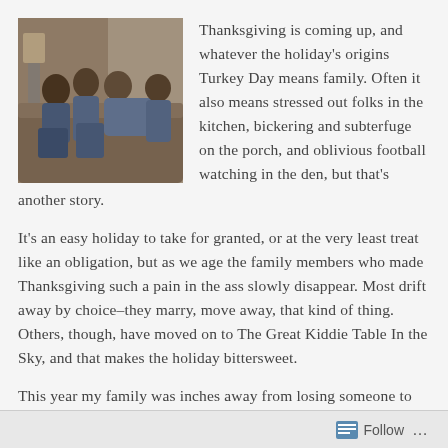[Figure (photo): A family photo showing several people lounging together on a couch or sofa, appearing relaxed and casual, in a warm indoor setting. The photo has a vintage look.]
Thanksgiving is coming up, and whatever the holiday's origins Turkey Day means family. Often it also means stressed out folks in the kitchen, bickering and subterfuge on the porch, and oblivious football watching in the den, but that's another story.
It's an easy holiday to take for granted, or at the very least treat like an obligation, but as we age the family members who made Thanksgiving such a pain in the ass slowly disappear. Most drift away by choice–they marry, move away, that kind of thing. Others, though, have moved on to The Great Kiddie Table In the Sky, and that makes the holiday bittersweet.
This year my family was inches away from losing someone to California's Camp Fire, a wildfire that I suspect will find its way into American folklore much in the way that the Chicago fire or
Follow ...